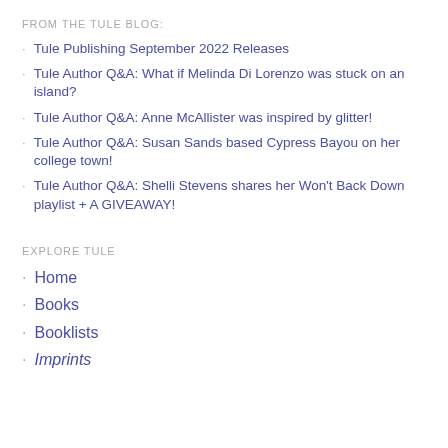FROM THE TULE BLOG:
Tule Publishing September 2022 Releases
Tule Author Q&A: What if Melinda Di Lorenzo was stuck on an island?
Tule Author Q&A: Anne McAllister was inspired by glitter!
Tule Author Q&A: Susan Sands based Cypress Bayou on her college town!
Tule Author Q&A: Shelli Stevens shares her Won't Back Down playlist + A GIVEAWAY!
EXPLORE TULE
Home
Books
Booklists
Imprints